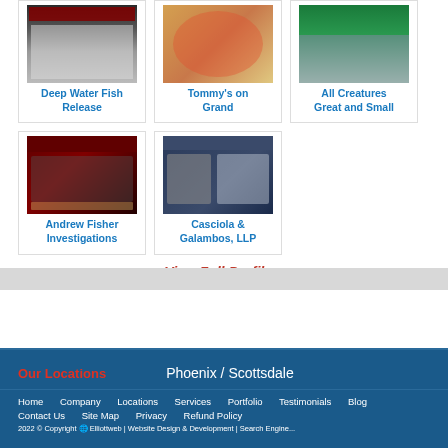[Figure (screenshot): Portfolio thumbnail for Deep Water Fish Release website]
Deep Water Fish Release
[Figure (screenshot): Portfolio thumbnail for Tommy's on Grand website]
Tommy's on Grand
[Figure (screenshot): Portfolio thumbnail for All Creatures Great and Small website]
All Creatures Great and Small
[Figure (screenshot): Portfolio thumbnail for Andrew Fisher Investigations website]
Andrew Fisher Investigations
[Figure (screenshot): Portfolio thumbnail for Casciola & Galambos, LLP website]
Casciola & Galambos, LLP
View Full Profile »
Our Locations
Phoenix / Scottsdale
Home  Company  Locations  Services  Portfolio  Testimonials  Blog  Contact Us  Site Map  Privacy  Refund Policy
2022 © Copyright  Elliottweb | Website Design & Development | Search Engine...